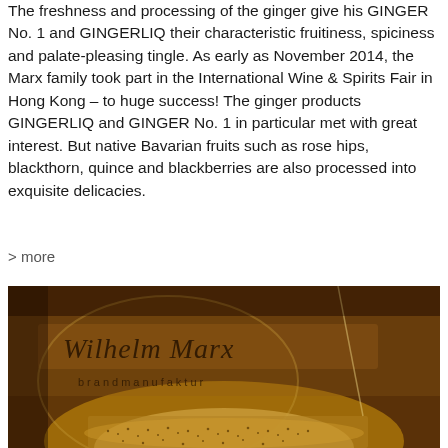The freshness and processing of the ginger give his GINGER No. 1 and GINGERLIQ their characteristic fruitiness, spiciness and palate-pleasing tingle. As early as November 2014, the Marx family took part in the International Wine & Spirits Fair in Hong Kong – to huge success! The ginger products GINGERLIQ and GINGER No. 1 in particular met with great interest. But native Bavarian fruits such as rose hips, blackthorn, quince and blackberries are also processed into exquisite delicacies.
> more
[Figure (photo): Close-up photo of a Wilhelm Marx brandmanufaktur sign on what appears to be a copper or brass distillery vessel, with grain or seeds visible at the bottom, warm golden-brown tones.]